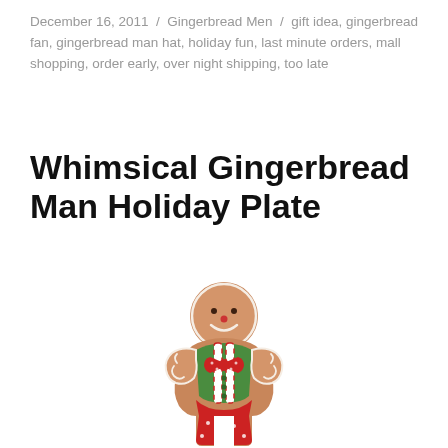December 16, 2011 / Gingerbread Men / gift idea, gingerbread fan, gingerbread man hat, holiday fun, last minute orders, mall shopping, order early, over night shipping, too late
Whimsical Gingerbread Man Holiday Plate
[Figure (illustration): A whimsical gingerbread man cookie illustration wearing a green shirt, red bow tie with white stripes, red shorts with white dots, and red/white striped suspenders. The figure has a round brown head with a white smile, dot eyes, and a red nose, with outstretched arms showing decorative white icing swirls.]